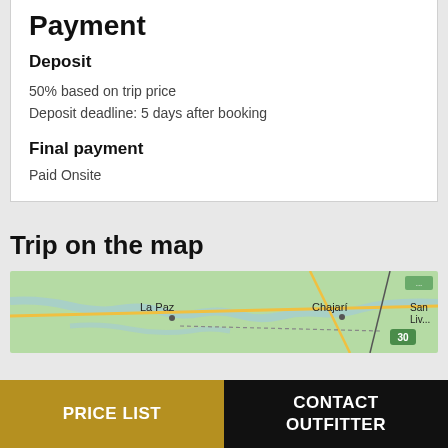Payment
Deposit
50% based on trip price
Deposit deadline: 5 days after booking
Final payment
Paid Onsite
Trip on the map
[Figure (map): Map showing La Paz, Chajari, and surrounding region with roads and terrain]
PRICE LIST
CONTACT OUTFITTER